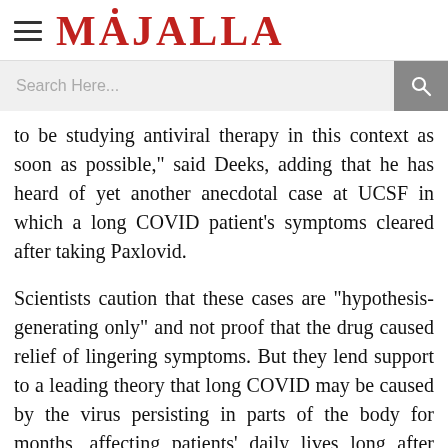MAJALLA
to be studying antiviral therapy in this context as soon as possible," said Deeks, adding that he has heard of yet another anecdotal case at UCSF in which a long COVID patient's symptoms cleared after taking Paxlovid.
Scientists caution that these cases are "hypothesis-generating only" and not proof that the drug caused relief of lingering symptoms. But they lend support to a leading theory that long COVID may be caused by the virus persisting in parts of the body for months, affecting patients' daily lives long after acute symptoms disappear.
The best evidence so far comes from a National Institutes of Health (NIH) study, currently under